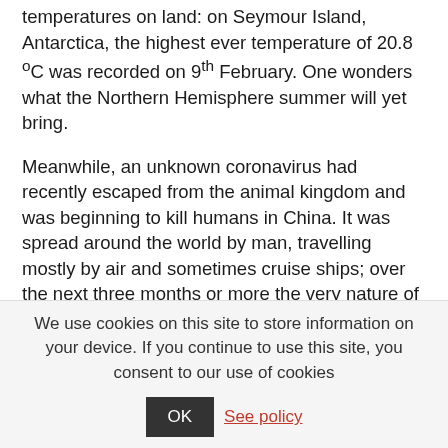temperatures on land: on Seymour Island, Antarctica, the highest ever temperature of 20.8 °C was recorded on 9th February. One wonders what the Northern Hemisphere summer will yet bring.
Meanwhile, an unknown coronavirus had recently escaped from the animal kingdom and was beginning to kill humans in China. It was spread around the world by man, travelling mostly by air and sometimes cruise ships; over the next three months or more the very nature of global society changed. Much of the world is now, or has been, in 'lockdown', with people obliged to remain at home, with many losing
We use cookies on this site to store information on your device. If you continue to use this site, you consent to our use of cookies  OK  See policy